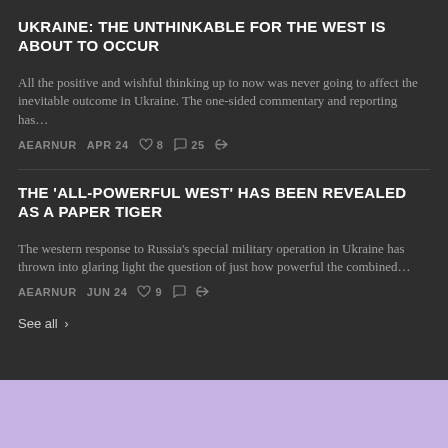UKRAINE: THE UNTHINKABLE FOR THE WEST IS ABOUT TO OCCUR
All the positive and wishful thinking up to now was never going to affect the inevitable outcome in Ukraine. The one-sided commentary and reporting has…
AEARNUR   APR 24   ♡ 8   💬 25   ↗
THE 'ALL-POWERFUL WEST' HAS BEEN REVEALED AS A PAPER TIGER
The western response to Russia's special military operation in Ukraine has thrown into glaring light the question of just how powerful the combined…
AEARNUR   JUN 24   ♡ 9   💬   ↗
See all >